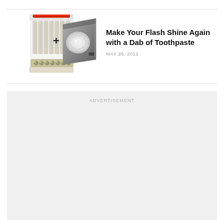[Figure (illustration): Composite image: toothpaste/toothbrush on left plus sign and camera flash unit on right]
Make Your Flash Shine Again with a Dab of Toothpaste
MAY 26, 2011
ADVERTISEMENT